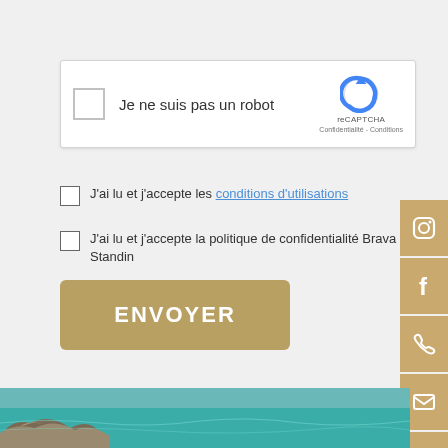[Figure (screenshot): reCAPTCHA widget with checkbox labeled 'Je ne suis pas un robot' and reCAPTCHA logo on the right]
J'ai lu et j'accepte les conditions d'utilisations
J'ai lu et j'accepte la politique de confidentialité Brava Home Standin
ENVOYER
[Figure (illustration): Social media icon bar on the right edge: Instagram, Facebook, phone, email, WhatsApp icons in tan/gold color]
[Figure (photo): Coastal landscape photo at the bottom showing rocks and turquoise water]